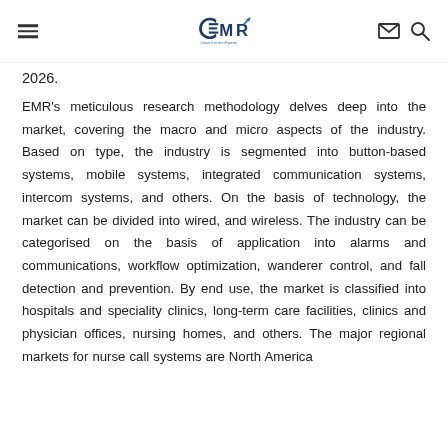EMR — Leave it to the Experts
2026.
EMR's meticulous research methodology delves deep into the market, covering the macro and micro aspects of the industry. Based on type, the industry is segmented into button-based systems, mobile systems, integrated communication systems, intercom systems, and others. On the basis of technology, the market can be divided into wired, and wireless. The industry can be categorised on the basis of application into alarms and communications, workflow optimization, wanderer control, and fall detection and prevention. By end use, the market is classified into hospitals and speciality clinics, long-term care facilities, clinics and physician offices, nursing homes, and others. The major regional markets for nurse call systems are North America